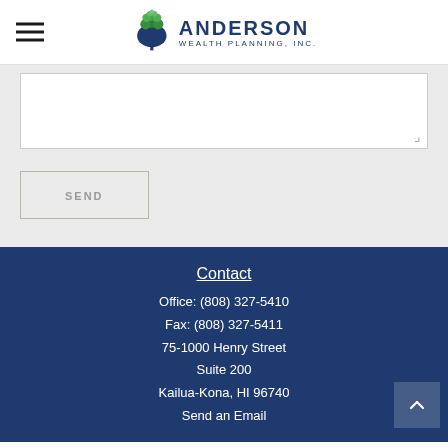[Figure (logo): Anderson Wealth Planning, Inc. logo with tree icon and text]
[Figure (screenshot): Text area input box for a contact form]
SEND
Contact
Office: (808) 327-5410
Fax: (808) 327-5411
75-1000 Henry Street
Suite 200
Kailua-Kona, HI 96740
Send an Email